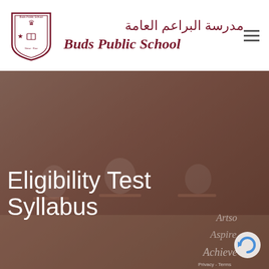[Figure (logo): Buds Public School shield/crest logo in black and white, showing a crown, star, open book, and text 'Buds Public School']
مدرسة البراعم العامة
Buds Public School
[Figure (photo): Students in maroon and white uniforms sitting at individual desks in an exam hall, writing on papers. A large overlay text reads 'Eligibility Test Syllabus'. Watermark text in bottom right reads 'Artso', 'Aspire', 'Achieve'. A reCAPTCHA icon and Privacy-Terms badge are visible in the lower right corner.]
Eligibility Test Syllabus